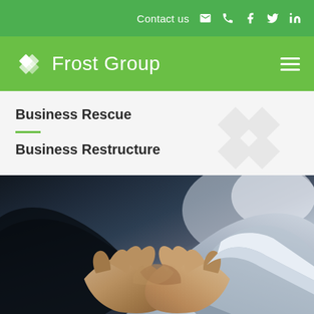Contact us
Frost Group
Business Rescue
Business Restructure
[Figure (photo): Close-up photograph of two people shaking hands in business attire]